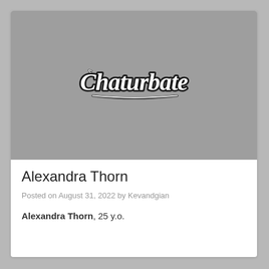[Figure (logo): Chaturbate logo in script font, white text with dark outline, on a medium gray background]
Alexandra Thorn
Posted on August 31, 2022 by Kevandgian
Alexandra Thorn, 25 y.o.